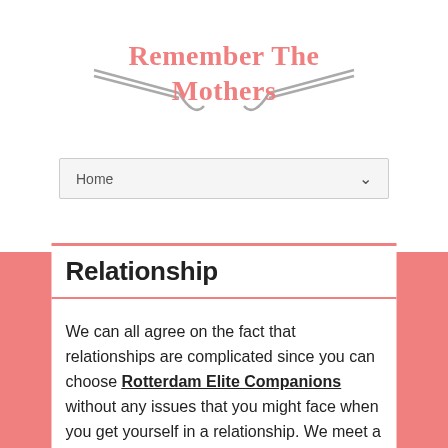Remember The Mothers
Home
Relationship
We can all agree on the fact that relationships are complicated since you can choose Rotterdam Elite Companions without any issues that you might face when you get yourself in a relationship. We meet a person, we fall in love, we think that we finally found Mr. Perfect and now we can live happily ever after. However, contrary